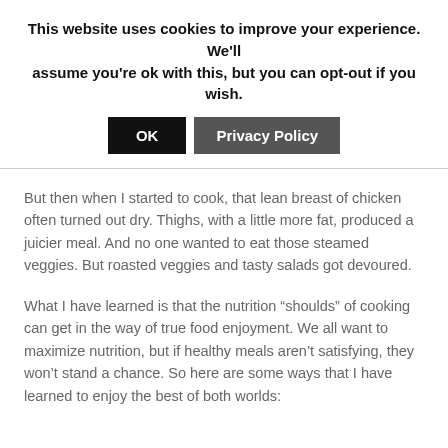This website uses cookies to improve your experience. We'll assume you're ok with this, but you can opt-out if you wish.
OK   Privacy Policy
But then when I started to cook, that lean breast of chicken often turned out dry. Thighs, with a little more fat, produced a juicier meal. And no one wanted to eat those steamed veggies. But roasted veggies and tasty salads got devoured.
What I have learned is that the nutrition “shoulds” of cooking can get in the way of true food enjoyment. We all want to maximize nutrition, but if healthy meals aren’t satisfying, they won’t stand a chance. So here are some ways that I have learned to enjoy the best of both worlds: